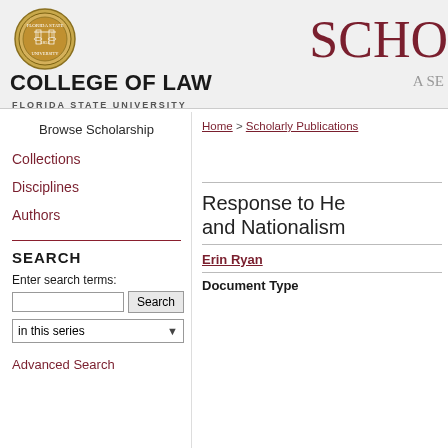COLLEGE OF LAW FLORIDA STATE UNIVERSITY | SCHO A SE
Browse Scholarship
Collections
Disciplines
Authors
SEARCH
Enter search terms:
in this series
Advanced Search
Home > Scholarly Publications
Response to He and Nationalism
Erin Ryan
Document Type